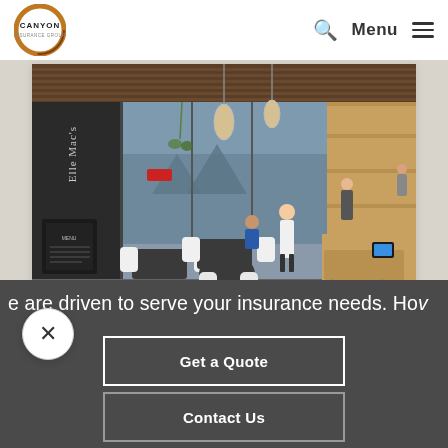[Figure (logo): Canyon Insurance logo — circular emblem with brown/gold ring and text CANYON in dark letters]
Menu
[Figure (photo): Interior rendering of a modern restaurant or cafe named Elle Mac's, with white chairs, dark tables, pendant lighting, large windows, and people dining and standing]
e are driven to serve your insurance needs. Hov
Get a Quote
Contact Us